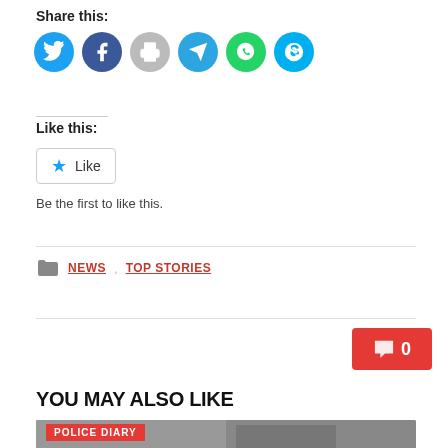Share this:
[Figure (infographic): Row of social media share icons: Twitter (blue), Facebook (blue), Print (gray), Telegram (blue), WhatsApp (green), Skype (blue)]
Like this:
[Figure (infographic): Like button with star icon and label 'Like']
Be the first to like this.
NEWS  TOP STORIES
[Figure (infographic): Red comment badge with chat icon and number 0]
YOU MAY ALSO LIKE
[Figure (photo): Photo of people near a vehicle with a POLICE DIARY label overlay]